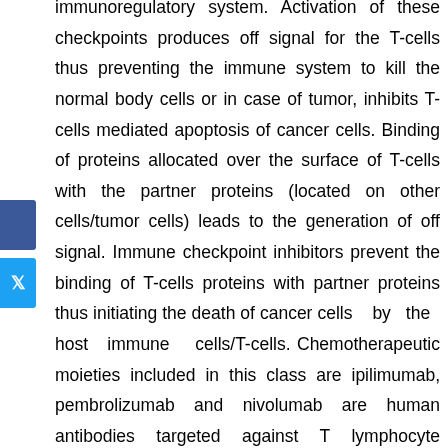immunoregulatory system. Activation of these checkpoints produces off signal for the T-cells thus preventing the immune system to kill the normal body cells or in case of tumor, inhibits T-cells mediated apoptosis of cancer cells. Binding of proteins allocated over the surface of T-cells with the partner proteins (located on other cells/tumor cells) leads to the generation of off signal. Immune checkpoint inhibitors prevent the binding of T-cells proteins with partner proteins thus initiating the death of cancer cells by the host immune cells/T-cells. Chemotherapeutic moieties included in this class are ipilimumab, pembrolizumab and nivolumab are human antibodies targeted against T lymphocyte antigen-4 (CTLA-4) and programmed death-1 (PD-1) [76]. Introduction of such form of chemotherapy